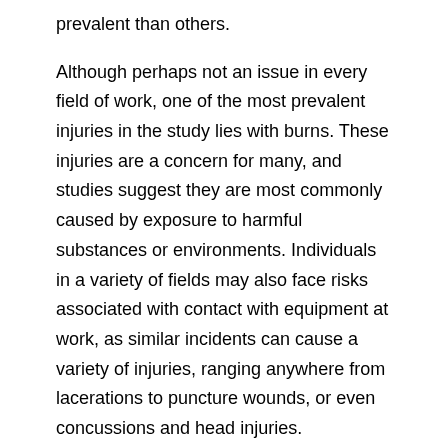prevalent than others.
Although perhaps not an issue in every field of work, one of the most prevalent injuries in the study lies with burns. These injuries are a concern for many, and studies suggest they are most commonly caused by exposure to harmful substances or environments. Individuals in a variety of fields may also face risks associated with contact with equipment at work, as similar incidents can cause a variety of injuries, ranging anywhere from lacerations to puncture wounds, or even concussions and head injuries.
Another common type of workplace incident pertains to slips or falls, and similar accidents can lead to broken bones and severe pain. However, according to the study, the most prevalent type of workplace injuries occur due to overexertion. While these injuries may start out as sprains or bouts of soreness, they could lead to chronic disorders that result in significant health concerns.